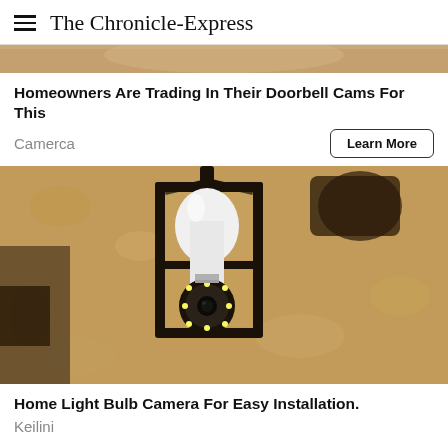The Chronicle-Express
[Figure (photo): Partial top banner image - cropped photo strip at top]
Homeowners Are Trading In Their Doorbell Cams For This
Camerca
Learn More
[Figure (photo): Photo of a black outdoor wall lantern with a smart security camera light bulb inserted, mounted on a tan stucco wall]
Home Light Bulb Camera For Easy Installation.
Keilini